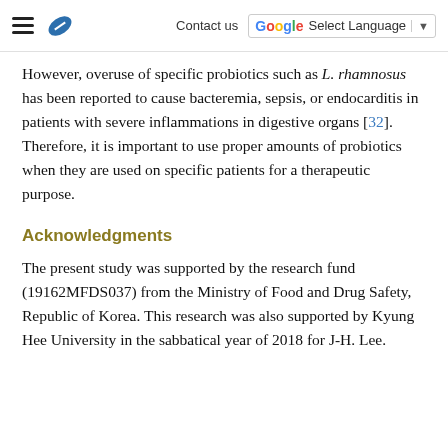Contact us | Select Language
However, overuse of specific probiotics such as L. rhamnosus has been reported to cause bacteremia, sepsis, or endocarditis in patients with severe inflammations in digestive organs [32]. Therefore, it is important to use proper amounts of probiotics when they are used on specific patients for a therapeutic purpose.
Acknowledgments
The present study was supported by the research fund (19162MFDS037) from the Ministry of Food and Drug Safety, Republic of Korea. This research was also supported by Kyung Hee University in the sabbatical year of 2018 for J-H. Lee.